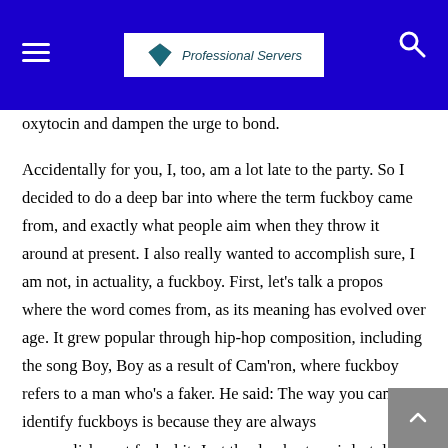Professional Servers
oxytocin and dampen the urge to bond.
Accidentally for you, I, too, am a lot late to the party. So I decided to do a deep bar into where the term fuckboy came from, and exactly what people aim when they throw it around at present. I also really wanted to accomplish sure, I am not, in actuality, a fuckboy. First, let's talk a propos where the word comes from, as its meaning has evolved over age. It grew popular through hip-hop composition, including the song Boy, Boy as a result of Cam'ron, where fuckboy refers to a man who's a faker. He said: The way you can identify fuckboys is because they are always accomplishment fuck shit. Just the dumbest, weirdest, lamest possible shit ever.
This one is for the homies so as to asked me wtf happened